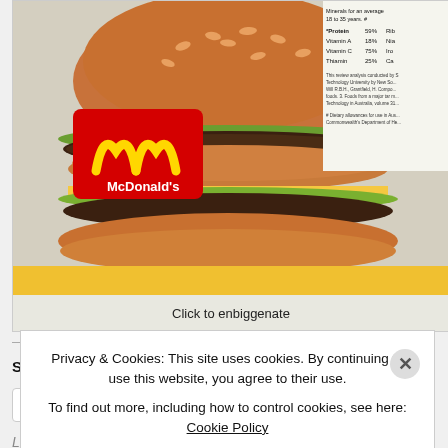[Figure (photo): McDonald's Big Mac burger photograph with McDonald's logo/branding visible on left side, and partial nutrition information panel visible on right side]
Click to enbiggenate
Share this:
Twitter
Facebook
Loading...
Privacy & Cookies: This site uses cookies. By continuing to use this website, you agree to their use.
To find out more, including how to control cookies, see here: Cookie Policy
Close and accept